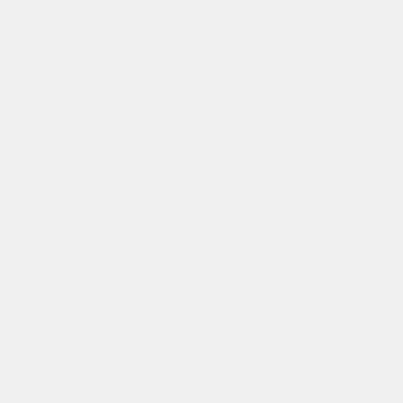| of pilot | fro... |
| --- | --- |
|  | pi
2D
is |
| In pocket | 3
is
th
po
ot
st
lo
th
ch
no |
| Not visible | T
ch
no
an
ch
vi |
[Figure (photo): Dark rectangular object, partially visible at bottom right corner]